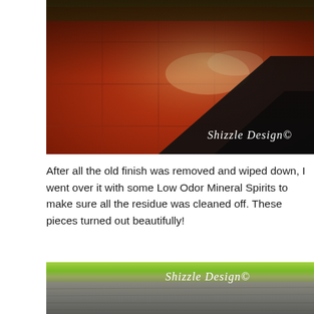[Figure (photo): Close-up photo of wet reddish-orange tiled surface with a dark triangular or wedge-shaped object on it, with 'Shizzle Design©' watermark in lower right]
After all the old finish was removed and wiped down, I went over it with some Low Odor Mineral Spirits to make sure all the residue was cleaned off. These pieces turned out beautifully!
[Figure (photo): Blurred photo of an outdoor surface (possibly a grey wooden deck or table) with green foliage in the background, with 'Shizzle Design©' watermark in upper right area]